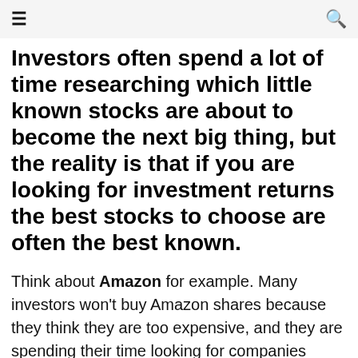≡  Q
Investors often spend a lot of time researching which little known stocks are about to become the next big thing, but the reality is that if you are looking for investment returns the best stocks to choose are often the best known.
Think about Amazon for example. Many investors won't buy Amazon shares because they think they are too expensive, and they are spending their time looking for companies which they think might be